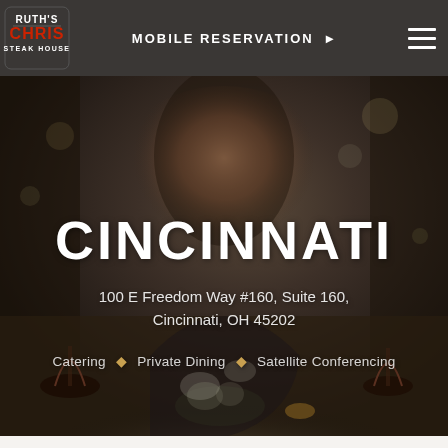[Figure (logo): Ruth's Chris Steak House logo in white and red on dark background]
MOBILE RESERVATION ▶
[Figure (photo): Background photo of a smiling woman dining at a restaurant with wine glasses and floral centerpiece, dark ambiance]
CINCINNATI
100 E Freedom Way #160, Suite 160, Cincinnati, OH 45202
Catering ♦ Private Dining ♦ Satellite Conferencing